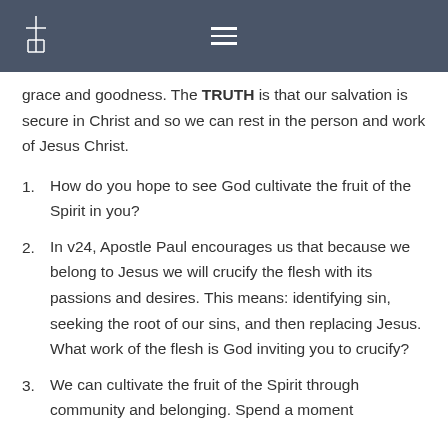[Church logo] [Navigation menu]
grace and goodness. The TRUTH is that our salvation is secure in Christ and so we can rest in the person and work of Jesus Christ.
How do you hope to see God cultivate the fruit of the Spirit in you?
In v24, Apostle Paul encourages us that because we belong to Jesus we will crucify the flesh with its passions and desires. This means: identifying sin, seeking the root of our sins, and then replacing Jesus. What work of the flesh is God inviting you to crucify?
We can cultivate the fruit of the Spirit through community and belonging. Spend a moment